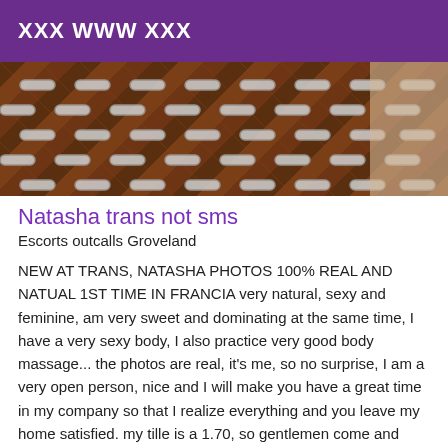XXX WWW XXX
[Figure (photo): Close-up photo of a woven leather surface with metallic chain or clasp details on a brown textured background]
Natasha trans not sms
Escorts outcalls Groveland
NEW AT TRANS, NATASHA PHOTOS 100% REAL AND NATUAL 1ST TIME IN FRANCIA very natural, sexy and feminine, am very sweet and dominating at the same time, I have a very sexy body, I also practice very good body massage... the photos are real, it's me, so no surprise, I am a very open person, nice and I will make you have a great time in my company so that I realize everything and you leave my home satisfied. my tille is a 1.70, so gentlemen come and discover me. I have a beautiful posterior and I'm waiting for you. I DO NOT ANSWER SMS, NOT MAIL NOT NUMBER MASKED.